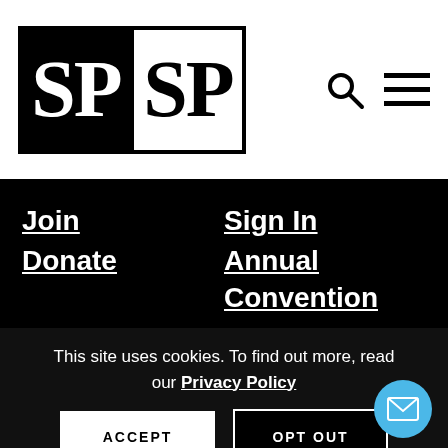[Figure (logo): SPSP logo: two-part block with 'SP' in white on black background and 'SP' in black on white background, both serif bold, with border.]
[Figure (other): Search icon (magnifying glass) and hamburger menu icon in the top-right of the header.]
Join
Donate
Sign In
Annual Convention
This site uses cookies. To find out more, read our Privacy Policy
ACCEPT
OPT OUT
[Figure (other): Blue circular email/envelope icon button in bottom-right corner.]